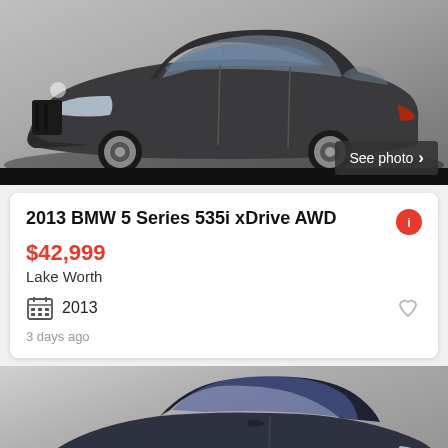[Figure (photo): Dark gray BMW 5 Series sedan, side profile view, against light gray/white background]
2013 BMW 5 Series 535i xDrive AWD
$42,999
Lake Worth
2013
3 days ago
[Figure (photo): Dark navy/black sedan, side profile view from front-left angle, checkered floor visible, against white background]